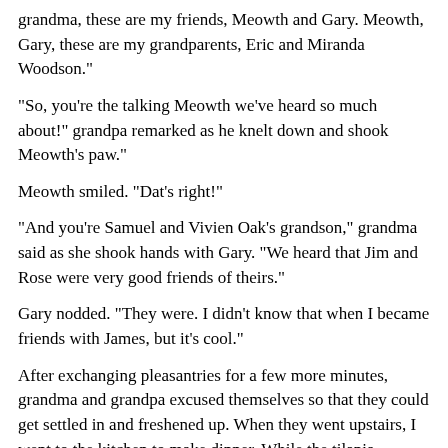grandma, these are my friends, Meowth and Gary. Meowth, Gary, these are my grandparents, Eric and Miranda Woodson."
"So, you're the talking Meowth we've heard so much about!" grandpa remarked as he knelt down and shook Meowth's paw."
Meowth smiled. "Dat's right!"
"And you're Samuel and Vivien Oak's grandson," grandma said as she shook hands with Gary. "We heard that Jim and Rose were very good friends of theirs."
Gary nodded. "They were. I didn't know that when I became friends with James, but it's cool."
After exchanging pleasantries for a few more minutes, grandma and grandpa excused themselves so that they could get settled in and freshened up. When they went upstairs, I went to the kitchen to make dinner. While the tilapia continued to marinate in citrus juices, I started a pot of rice. Once the rice was cooked, I put the tilapia in the oven to broil and added some black beans and mojo seasonings to the rice. And once the fish was ready, I took it from the oven and garnished it with the mango salsa I'd made earlier.
When I brought the food to the table, Gary, Meowth, Wobbuffet, Jessie, grandma, and grandpa were all waiting for me. Their